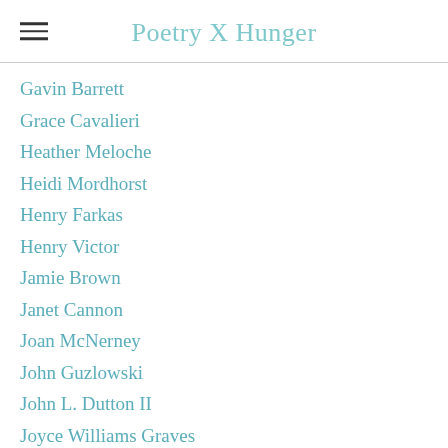Poetry X Hunger
Gavin Barrett
Grace Cavalieri
Heather Meloche
Heidi Mordhorst
Henry Farkas
Henry Victor
Jamie Brown
Janet Cannon
Joan McNerney
John Guzlowski
John L. Dutton II
Joyce Williams Graves
Justin Johnson
Keith Inman
Laurel Chambers
Lauren Camp
Linda Fischer